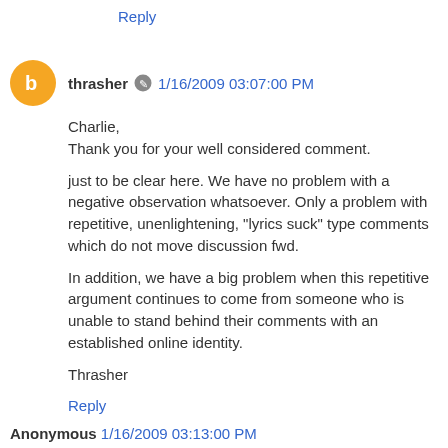Reply
thrasher 1/16/2009 03:07:00 PM
Charlie,
Thank you for your well considered comment.

just to be clear here. We have no problem with a negative observation whatsoever. Only a problem with repetitive, unenlightening, "lyrics suck" type comments which do not move discussion fwd.

In addition, we have a big problem when this repetitive argument continues to come from someone who is unable to stand behind their comments with an established online identity.

Thrasher
Reply
Anonymous 1/16/2009 03:13:00 PM